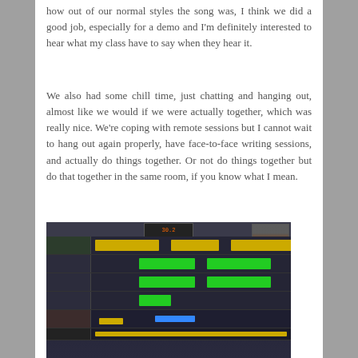how out of our normal styles the song was, I think we did a good job, especially for a demo and I'm definitely interested to hear what my class have to say when they hear it.
We also had some chill time, just chatting and hanging out, almost like we would if we were actually together, which was really nice. We're coping with remote sessions but I cannot wait to hang out again properly, have face-to-face writing sessions, and actually do things together. Or not do things together but do that together in the same room, if you know what I mean.
[Figure (photo): A photograph of a computer monitor displaying a digital audio workstation (DAW) with multiple green and yellow audio clips arranged on tracks. A small webcam video feed shows a person in the top-right corner of the screen.]